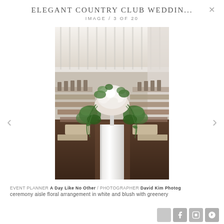ELEGANT COUNTRY CLUB WEDDIN...
IMAGE / 3 OF 20
[Figure (photo): Wedding ceremony aisle with a white pedestal holding a large white and blush floral arrangement with greenery, rows of wooden chairs on either side, bright windowed room in background]
EVENT PLANNER A Day Like No Other / PHOTOGRAPHER David Kim Photog
ceremony aisle floral arrangement in white and blush with greenery